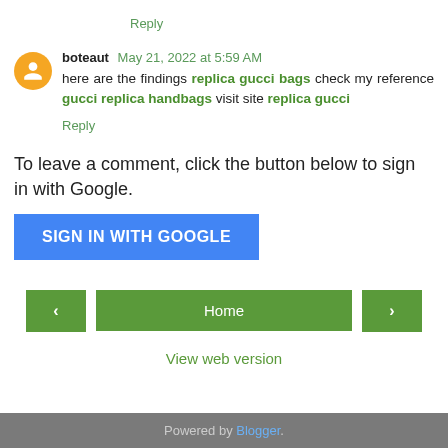Reply
boteaut May 21, 2022 at 5:59 AM
here are the findings replica gucci bags check my reference gucci replica handbags visit site replica gucci
Reply
To leave a comment, click the button below to sign in with Google.
SIGN IN WITH GOOGLE
Home
View web version
Powered by Blogger.